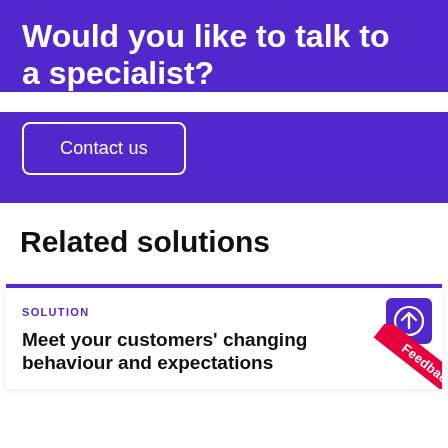Would you like to talk to a specialist?
Contact us
Related solutions
SOLUTION
Meet your customers' changing behaviour and expectations